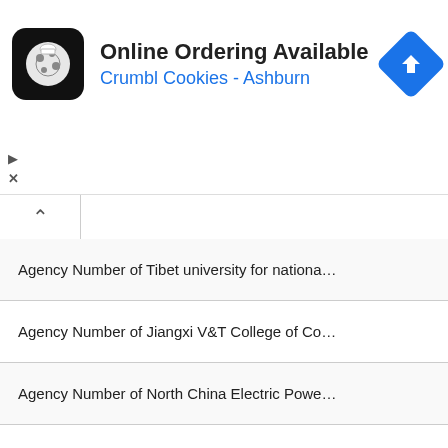[Figure (screenshot): Ad banner for Crumbl Cookies - Ashburn showing online ordering available, with cookie logo icon and navigation arrow icon]
Agency Number of Tibet university for national...
Agency Number of Jiangxi V&T College of Co...
Agency Number of North China Electric Powe...
Agency Number of Peking University Founde...
Agency Number of Guilin University of Electro...
Agency Number of Baotou Railway Vocationa...
Agency Number of Tianjin Petroleum Vocatio...